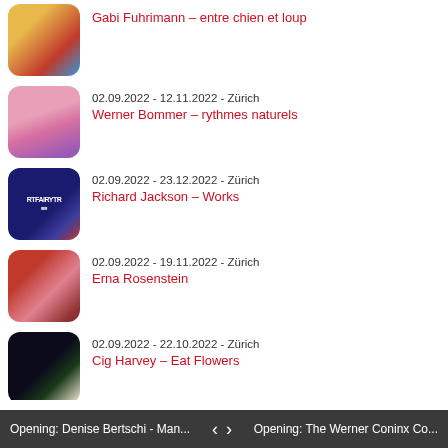Gabi Fuhrimann – entre chien et loup
02.09.2022 - 12.11.2022 - Zürich
Werner Bommer – rythmes naturels
02.09.2022 - 23.12.2022 - Zürich
Richard Jackson – Works
02.09.2022 - 19.11.2022 - Zürich
Erna Rosenstein
02.09.2022 - 22.10.2022 - Zürich
Cig Harvey – Eat Flowers
show all exhibitions
Recently active Members
[Figure (photo): Row of member profile thumbnails]
Opening: Denise Bertschi - Man...    <    >    Opening: The Werner Coninx Co...